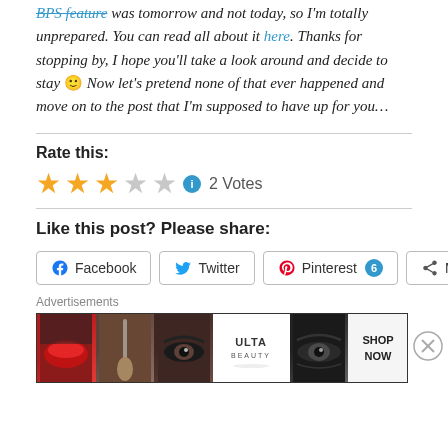BPS feature was tomorrow and not today, so I'm totally unprepared. You can read all about it here. Thanks for stopping by, I hope you'll take a look around and decide to stay 🙂 Now let's pretend none of that ever happened and move on to the post that I'm supposed to have up for you…
Rate this:
[Figure (other): Star rating widget showing 3 out of 5 stars (3 filled gold stars, 2 empty gray stars), an info icon, and '2 Votes' text]
Like this post? Please share:
Facebook  Twitter  Pinterest 6  More
[Figure (other): Advertisements banner with ULTA beauty cosmetics ad showing makeup imagery and SHOP NOW text]